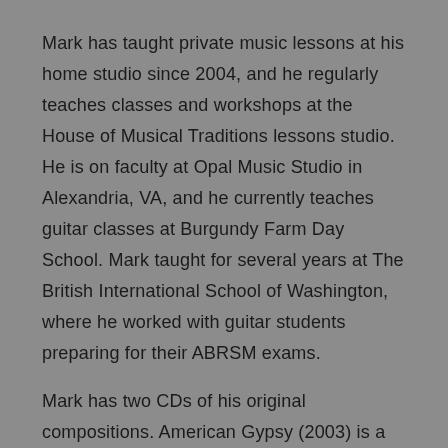Mark has taught private music lessons at his home studio since 2004, and he regularly teaches classes and workshops at the House of Musical Traditions lessons studio. He is on faculty at Opal Music Studio in Alexandria, VA, and he currently teaches guitar classes at Burgundy Farm Day School. Mark taught for several years at The British International School of Washington, where he worked with guitar students preparing for their ABRSM exams.
Mark has two CDs of his original compositions. American Gypsy (2003) is a collection of 15 original compositions for solo acoustic guitar; and New Music for Banjo (2009), winner the 2009